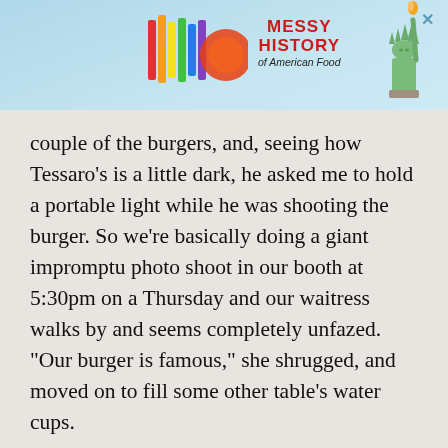[Figure (other): Advertisement banner for 'Messy History of American Food' featuring colorful logo, Statue of Liberty illustration, and a close button]
couple of the burgers, and, seeing how Tessaro's is a little dark, he asked me to hold a portable light while he was shooting the burger. So we're basically doing a giant impromptu photo shoot in our booth at 5:30pm on a Thursday and our waitress walks by and seems completely unfazed. "Our burger is famous," she shrugged, and moved on to fill some other table's water cups.
And it is. The name Tessaro's rings out to anyone from PGH. What was, in its earliest form a neighborhood bar from Rich Tessaro, was purchased by legendary local bartender Kelly Harrington in the '80s, and Harrington tweaked its focus to include burgers. And those burgers